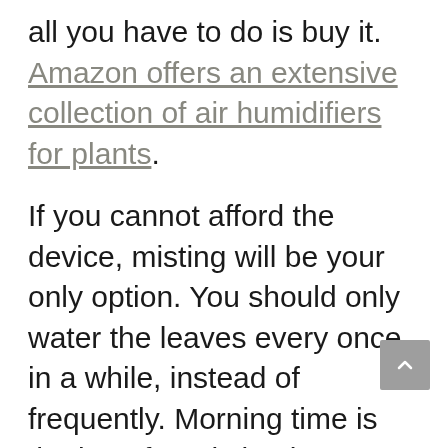all you have to do is buy it. Amazon offers an extensive collection of air humidifiers for plants.
If you cannot afford the device, misting will be your only option. You should only water the leaves every once in a while, instead of frequently. Morning time is the best for misting because it prevents fungi from growing.
Temperature